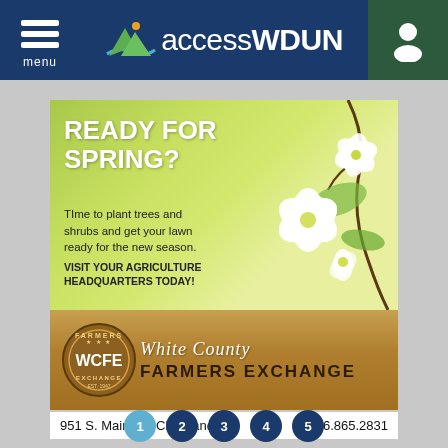accessWDUN — menu / user nav
[Figure (illustration): White County Farmers Exchange advertisement. Top half: green spring background with white dogwood flowers on branches. Bold white text reads 'READY FOR SPRING?'. Dark text: 'Time to plant trees and shrubs and get your lawn ready for the new season.' and 'VISIT YOUR AGRICULTURE HEADQUARTERS TODAY!'. Bottom half: brown wooden background with WCFE circular logo and 'White County FARMERS EXCHANGE' branding. Address: 951 S. Main St., Cleveland  706.865.2831]
951 S. Main St., Cleveland     706.865.2831
1  2  3  4  5